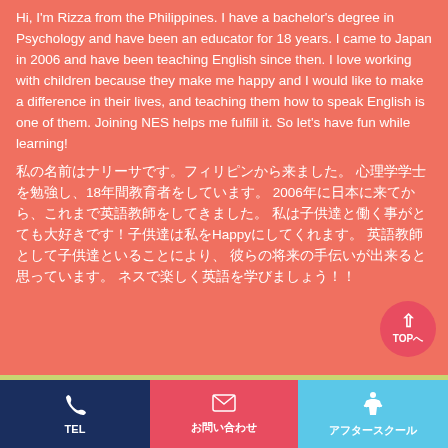Hi, I'm Rizza from the Philippines. I have a bachelor's degree in Psychology and have been an educator for 18 years. I came to Japan in 2006 and have been teaching English since then. I love working with children because they make me happy and I would like to make a difference in their lives, and teaching them how to speak English is one of them. Joining NES helps me fulfill it. So let's have fun while learning!
私の名前はナリーサです。フィリピンから来ました。 心理学学士を勉強し、18年間教育者をしています。 2006年に日本に来てから、これまで英語教師をしてきました。 私は子供達と働く事がとても大好きです！子供達は私をHappyにしてくれます。 英語教師として子供達といることにより、 彼らの将来の手伝いが出来ると思っています。 ネスで楽しく英語を学びましょう！！
[Figure (screenshot): Bottom navigation bar with TEL button (dark blue), お問い合わせ button (red/pink), and アフタースクール button (light blue)]